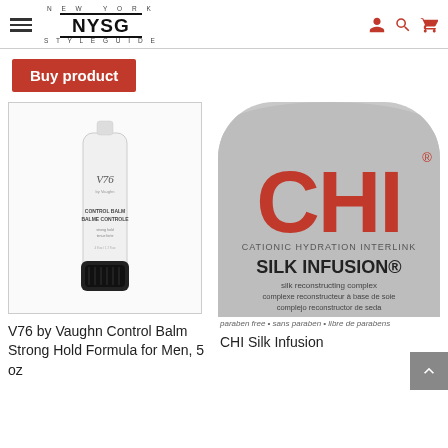NEW YORK NYSG STYLEGUIDE
Buy product
[Figure (photo): V76 by Vaughn Control Balm white tube with black cap on white background]
V76 by Vaughn Control Balm Strong Hold Formula for Men, 5 oz
[Figure (photo): CHI Silk Infusion bottle showing red CHI logo, CATIONIC HYDRATION INTERLINK text, SILK INFUSION, silk reconstructing complex, paraben free]
CHI Silk Infusion